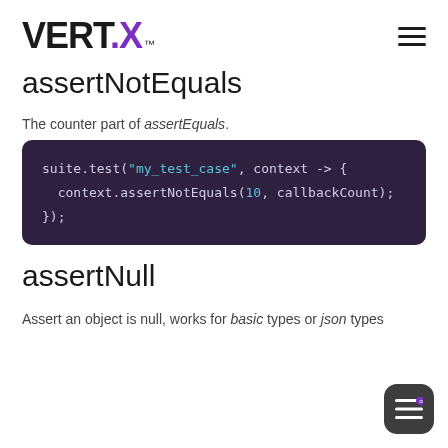VERT.X™
assertNotEquals
The counter part of assertEquals.
[Figure (screenshot): Code block showing: suite.test("my_test_case", context -> { context.assertNotEquals(10, callbackCount); });]
assertNull
Assert an object is null, works for basic types or json types